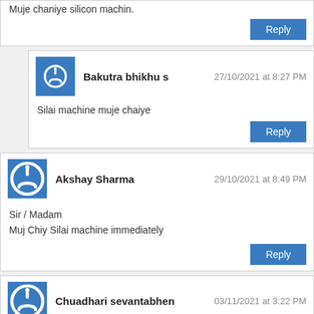Muje chaniye silicon machin.
Reply
Bakutra bhikhu s
27/10/2021 at 8:27 PM
Silai machine muje chaiye
Reply
Akshay Sharma
29/10/2021 at 8:49 PM
Sir / Madam
Muj Chiy Silai machine immediately
Reply
Chuadhari sevantabhen
03/11/2021 at 3:22 PM
Muje bhi chahiye